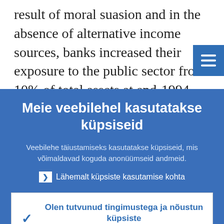result of moral suasion and in the absence of alternative income sources, banks increased their exposure to the public sector from 10% of total assets at end-1994 ...
Meie veebilehel kasutatakse küpsiseid
Veebilehe täiustamiseks kasutatakse küpsiseid, mis võimaldavad koguda anonüümseid andmeid.
▶ Lähemalt küpsiste kasutamise kohta
✓ Olen tutvunud tingimustega ja nõustun küpsiste kasutamisega
✗ Ei nõustu küpsiste kasutamisega